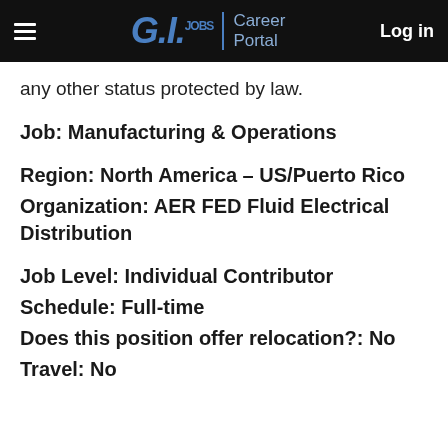G.I. Jobs | Career Portal   Log in
any other status protected by law.
Job: Manufacturing & Operations
Region: North America – US/Puerto Rico
Organization: AER FED Fluid Electrical Distribution
Job Level: Individual Contributor
Schedule: Full-time
Does this position offer relocation?: No
Travel: No